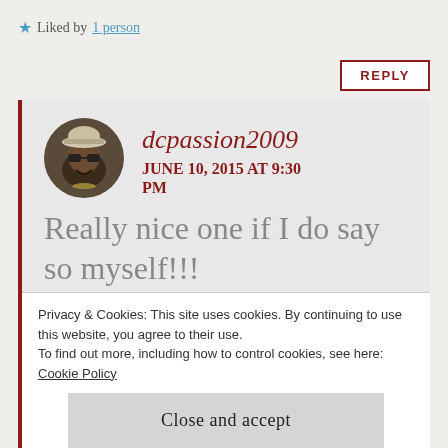★ Liked by 1 person
REPLY
[Figure (photo): Circular avatar photo of a smiling woman wearing sunglasses and a white hat]
dcpassion2009
JUNE 10, 2015 AT 9:30 PM
Really nice one if I do say so myself!!!
Privacy & Cookies: This site uses cookies. By continuing to use this website, you agree to their use.
To find out more, including how to control cookies, see here: Cookie Policy
Close and accept